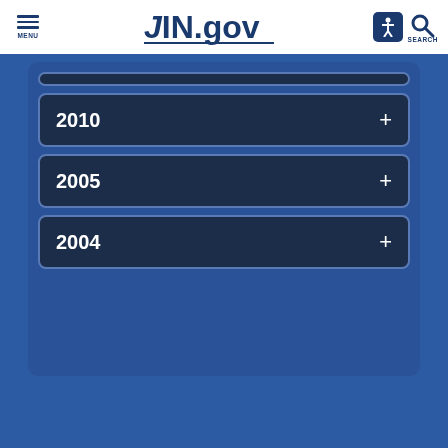MENU | IN.gov | SEARCH
2010 +
2005 +
2004 +